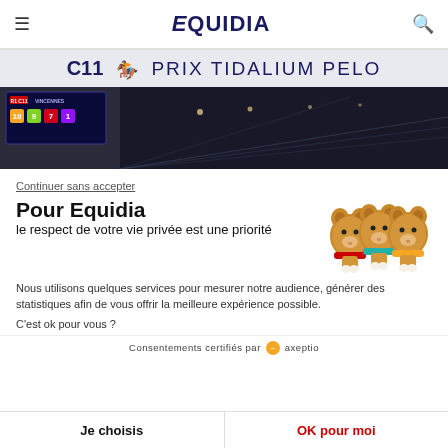≡  EQUIDIA  🔍
C11 🏇 PRIX TIDALIUM PELO
[Figure (photo): Night horse racing track scene at Vincennes with scoreboard showing race numbers]
Continuer sans accepter
Pour Equidia
le respect de votre vie privée est une priorité
[Figure (illustration): Three cute bear-shaped horse cookie figures with colored ribbons (red, teal, orange)]
Nous utilisons quelques services pour mesurer notre audience, générer des statistiques afin de vous offrir la meilleure expérience possible.
C'est ok pour vous ?
Consentements certifiés par axeptio
Je choisis
OK pour moi